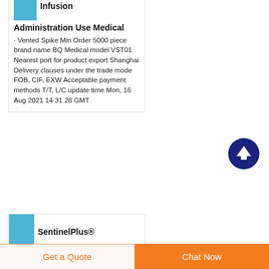Infusion Administration Use Medical
· Vented Spike Min Order 5000 piece brand name BQ Medical model VST01 Nearest port for product export Shanghai Delivery clauses under the trade mode FOB, CIF, EXW Acceptable payment methods T/T, L/C update time Mon, 16 Aug 2021 14 31 28 GMT
[Figure (illustration): Scroll-to-top button: dark blue circle with white upward arrow]
SentinelPlus®
Get a Quote
Chat Now